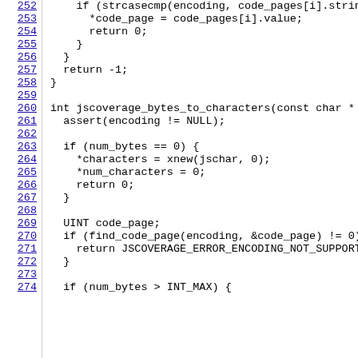Source code listing lines 252-274 showing C code for jscoverage_bytes_to_characters function
252: if (strcasecmp(encoding, code_pages[i].string)
253:     *code_page = code_pages[i].value;
254:     return 0;
255:   }
256: }
257: return -1;
258: }
259:
260: int jscoverage_bytes_to_characters(const char * enc
261:   assert(encoding != NULL);
262:
263:   if (num_bytes == 0) {
264:     *characters = xnew(jschar, 0);
265:     *num_characters = 0;
266:     return 0;
267:   }
268:
269:   UINT code_page;
270:   if (find_code_page(encoding, &code_page) != 0) {
271:     return JSCOVERAGE_ERROR_ENCODING_NOT_SUPPORTED;
272:   }
273:
274:   if (num_bytes > INT_MAX) {